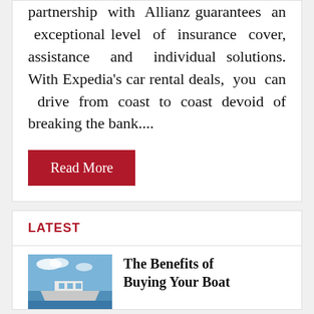partnership with Allianz guarantees an exceptional level of insurance cover, assistance and individual solutions. With Expedia's car rental deals, you can drive from coast to coast devoid of breaking the bank....
Read More
LATEST
The Benefits of Buying Your Boat